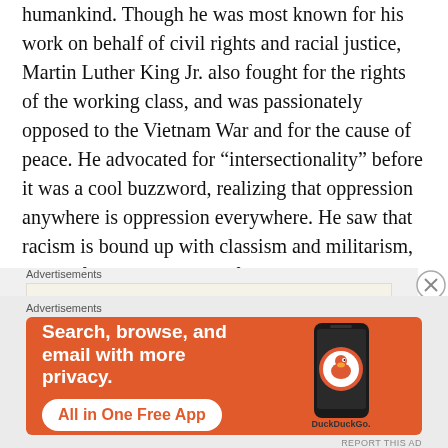humankind. Though he was most known for his work on behalf of civil rights and racial justice, Martin Luther King Jr. also fought for the rights of the working class, and was passionately opposed to the Vietnam War and for the cause of peace. He advocated for “intersectionality” before it was a cool buzzword, realizing that oppression anywhere is oppression everywhere. He saw that racism is bound up with classism and militarism, and he fought against all of it.
[Figure (other): Advertisement box with cream background showing WordPress logo and text 'Professionally designed sites in less than a week']
[Figure (other): DuckDuckGo advertisement on orange background with phone image showing 'Search, browse, and email with more privacy. All in One Free App']